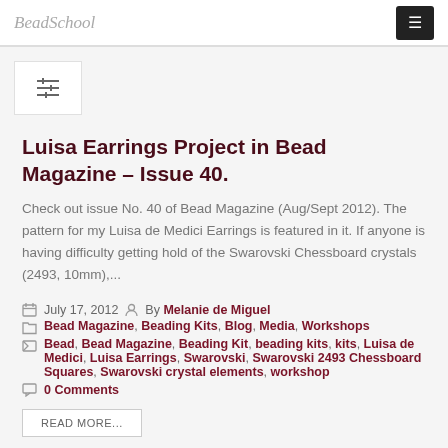BeadSchool
Luisa Earrings Project in Bead Magazine – Issue 40.
Check out issue No. 40 of Bead Magazine (Aug/Sept 2012). The pattern for my Luisa de Medici Earrings is featured in it. If anyone is having difficulty getting hold of the Swarovski Chessboard crystals (2493, 10mm),...
July 17, 2012  By Melanie de Miguel
Bead Magazine, Beading Kits, Blog, Media, Workshops
Bead, Bead Magazine, Beading Kit, beading kits, kits, Luisa de Medici, Luisa Earrings, Swarovski, Swarovski 2493 Chessboard Squares, Swarovski crystal elements, workshop
0 Comments
READ MORE...